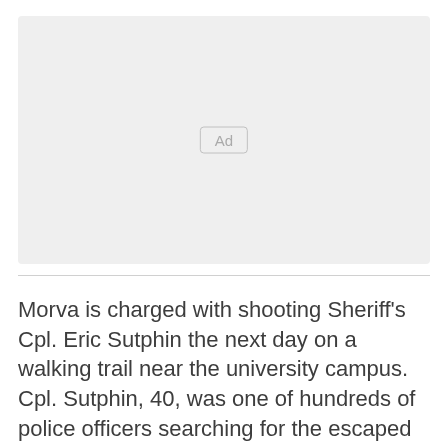[Figure (other): Advertisement placeholder box with 'Ad' label in center]
Morva is charged with shooting Sheriff's Cpl. Eric Sutphin the next day on a walking trail near the university campus. Cpl. Sutphin, 40, was one of hundreds of police officers searching for the escaped prisoner as Virginia Tech shut down the campus on the first day of